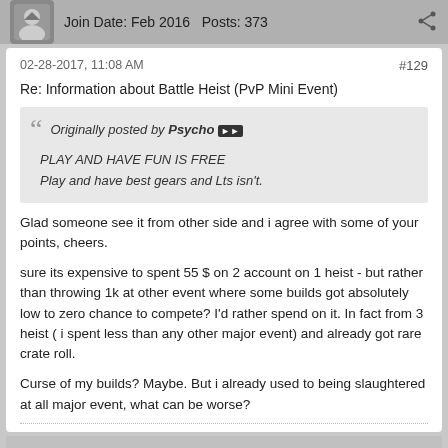Join Date: Feb 2016   Posts: 373
02-28-2017, 11:08 AM
#129
Re: Information about Battle Heist (PvP Mini Event)
Originally posted by Psycho
PLAY AND HAVE FUN IS FREE
Play and have best gears and Lts isn't.
Glad someone see it from other side and i agree with some of your points, cheers.

sure its expensive to spent 55 $ on 2 account on 1 heist - but rather than throwing 1k at other event where some builds got absolutely low to zero chance to compete? I'd rather spend on it. In fact from 3 heist ( i spent less than any other major event) and already got rare crate roll.

Curse of my builds? Maybe. But i already used to being slaughtered at all major event, what can be worse?